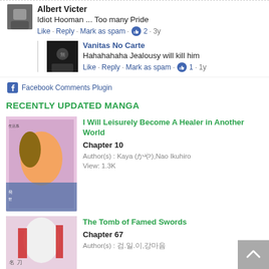Albert Victer
Idiot Hooman ... Too many Pride
Like · Reply · Mark as spam · 👍 2 · 3y
Vanitas No Carte
Hahahahaha Jealousy will kill him
Like · Reply · Mark as spam · 👍 1 · 1y
Facebook Comments Plugin
RECENTLY UPDATED MANGA
I Will Leisurely Become A Healer in Another World
Chapter 10
Author(s) : Kaya (かや),Nao Ikuhiro
View: 1.3K
The Tomb of Famed Swords
Chapter 67
Author(s) : 검.일.이,강마음